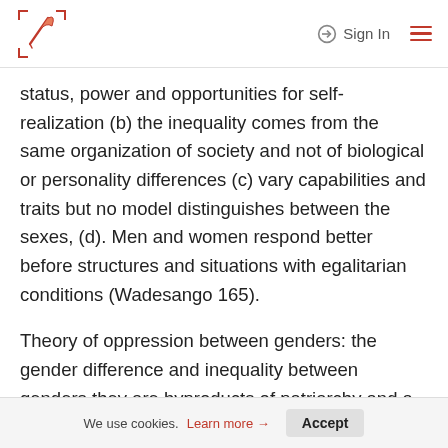Sign In [navigation bar with logo]
status, power and opportunities for self-realization (b) the inequality comes from the same organization of society and not of biological or personality differences (c) vary capabilities and traits but no model distinguishes between the sexes, (d). Men and women respond better before structures and situations with egalitarian conditions (Wadesango 165).
Theory of oppression between genders: the gender difference and inequality between genders they are byproducts of patriarchy and a power structure is constituted. Gender inequality has historically been
We use cookies. Learn more → Accept